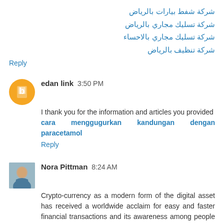شركة شفط بيارات بالرياض
شركة تسليك مجاري بالرياض
شركة تسليك مجاري بالاحساء
شركة تنظيف بالرياض
Reply
edan link  3:50 PM
I thank you for the information and articles you provided cara menggugurkan kandungan dengan paracetamol
Reply
Nora Pittman  8:24 AM
Crypto-currency as a modern form of the digital asset has received a worldwide acclaim for easy and faster financial transactions and its awareness among people have allowed them to take more interest in the field thus opening up new and advanced ways of making payments. Crypto.com Referral Code with the growing demand of this global phenomenon, more new traders and business